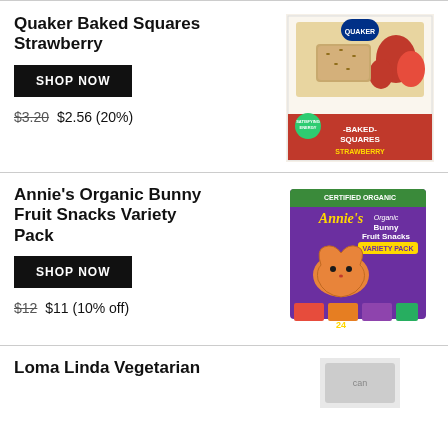Quaker Baked Squares Strawberry
SHOP NOW
$3.20 $2.56 (20%)
[Figure (photo): Quaker Baked Squares Strawberry product box]
Annie's Organic Bunny Fruit Snacks Variety Pack
SHOP NOW
$12 $11 (10% off)
[Figure (photo): Annie's Organic Bunny Fruit Snacks Variety Pack product box]
Loma Linda Vegetarian